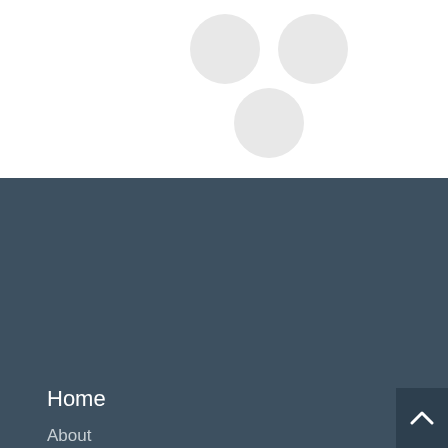[Figure (illustration): Three light gray circles arranged in a triangular pattern on a white background — two circles on top side by side and one circle centered below them.]
Home
About
Contact
Privacy Policy
Address
The Prem Rawat Foundation